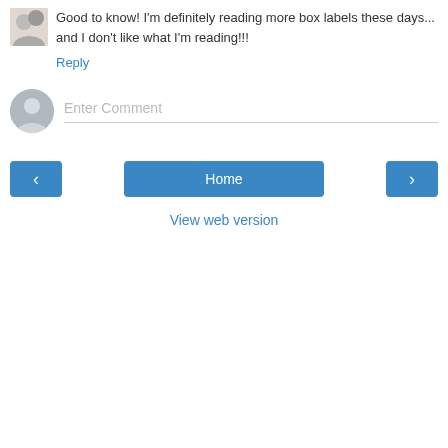Good to know! I'm definitely reading more box labels these days... and I don't like what I'm reading!!!
Reply
Enter Comment
Home
View web version